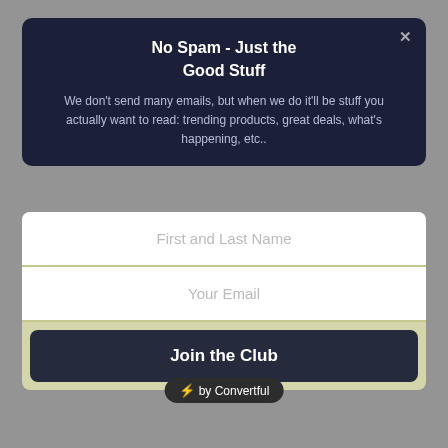No Spam - Just the Good Stuff
We don't send many emails, but when we do it'll be stuff you actually want to read: trending products, great deals, what's happening, etc..
[Figure (screenshot): Email signup form with First and Last Name field, Your Email field, and Join the Club button]
[Figure (logo): ⚡ by Convertful badge]
cons
More expensive than entry-level options
Noisy when operated at high settings
Fierce EXILE RGB Gaming PC